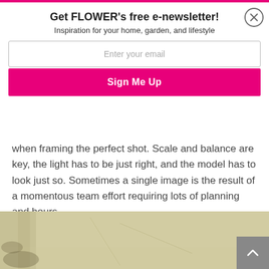Get FLOWER's free e-newsletter!
Inspiration for your home, garden, and lifestyle
Enter your email
Sign Me Up
when framing the perfect shot. Scale and balance are key, the light has to be just right, and the model has to look just so. Sometimes a single image is the result of a momentous team effort requiring lots of planning and hours.
[Figure (photo): A worn, aged paper or linen surface with yellowish-beige tones and light crease marks, partially cropped at the bottom of the page.]